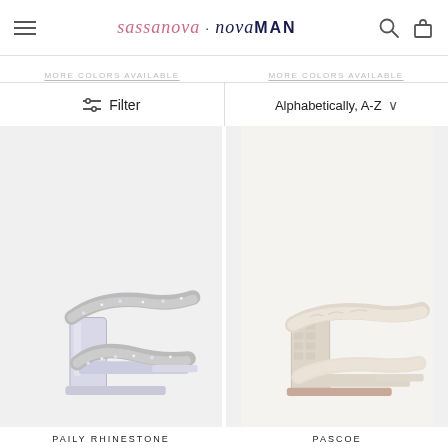sassanova · novaMAN
MORE COLORS AVAILABLE — MORE COLORS AVAILABLE
Filter | Alphabetically, A-Z
[Figure (photo): Silver rhinestone braided double-strap block heel sandal (PAILY RHINESTONE)]
[Figure (photo): Cream/ivory croc-embossed double-strap block heel sandal (PASCOE)]
PAILY RHINESTONE
PASCOE